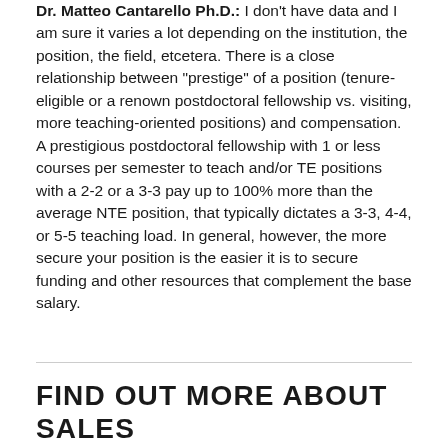Dr. Matteo Cantarello Ph.D.: I don't have data and I am sure it varies a lot depending on the institution, the position, the field, etcetera. There is a close relationship between "prestige" of a position (tenure-eligible or a renown postdoctoral fellowship vs. visiting, more teaching-oriented positions) and compensation. A prestigious postdoctoral fellowship with 1 or less courses per semester to teach and/or TE positions with a 2-2 or a 3-3 pay up to 100% more than the average NTE position, that typically dictates a 3-3, 4-4, or 5-5 teaching load. In general, however, the more secure your position is the easier it is to secure funding and other resources that complement the base salary.
FIND OUT MORE ABOUT SALES